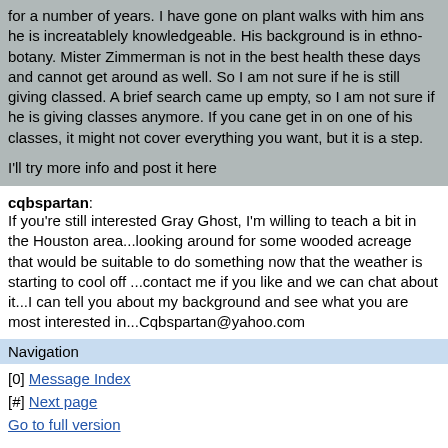for a number of years.  I have gone on plant walks with him ans he is increatablely knowledgeable. His background is in ethno-botany. Mister Zimmerman is not in the best health these days and cannot get around as well. So I am not sure if he is still giving classed.  A brief search came up empty, so I am not sure if he is giving classes anymore. If you cane get in on one of his classes, it might not cover everything you want, but it is a step.

I'll try more info and post it here
cqbspartan:
If you're still interested Gray Ghost, I'm willing to teach a bit in the Houston area...looking around for some wooded acreage that would be suitable to do something now that the weather is starting to cool off ...contact me if you like and we can chat about it...I can tell you about my background and see what you are most interested in...Cqbspartan@yahoo.com
Navigation
[0] Message Index
[#] Next page
Go to full version